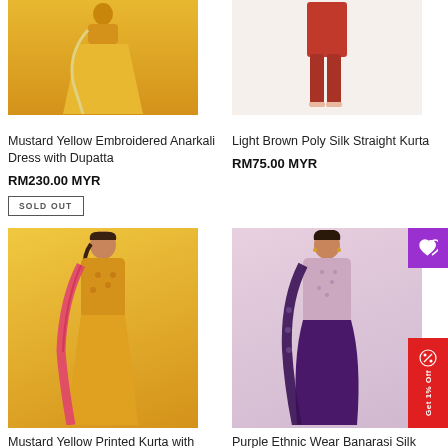[Figure (photo): Mustard yellow Anarkali dress product photo, woman in yellow embroidered dress]
Mustard Yellow Embroidered Anarkali Dress with Dupatta
RM230.00 MYR
SOLD OUT
[Figure (photo): Light Brown Poly Silk Straight Kurta product photo, lower half of model in red kurta and leggings]
Light Brown Poly Silk Straight Kurta
RM75.00 MYR
[Figure (photo): Mustard Yellow Printed Kurta with Palazzos and Dupatta, woman in yellow outfit with pink dupatta]
Mustard Yellow Printed Kurta with Palazzos & Dupatta
[Figure (photo): Purple Ethnic Wear Banarasi Silk Salwar Suit, woman in pink and purple salwar suit with dark dupatta]
Purple Ethnic Wear Banarasi Silk Salwar Suit